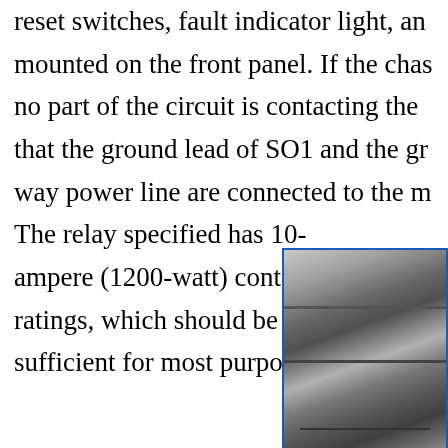reset switches, fault indicator light, and mounted on the front panel. If the chas no part of the circuit is contacting the that the ground lead of SO1 and the gr way power line are connected to the m The relay specified has 10-ampere (1200-watt) contact ratings, which should be sufficient for most purposes. If
[Figure (photo): A black and white photograph showing what appears to be an electronic chassis or panel with horizontal components/rails visible, bordered with a blue frame on the left side.]